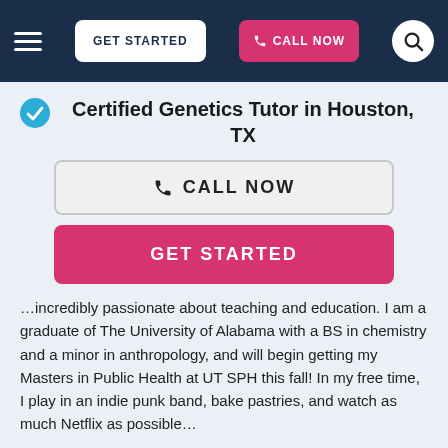GET STARTED | CALL NOW
Certified Genetics Tutor in Houston, TX
CALL NOW
GET STARTED
…incredibly passionate about teaching and education. I am a graduate of The University of Alabama with a BS in chemistry and a minor in anthropology, and will begin getting my Masters in Public Health at UT SPH this fall! In my free time, I play in an indie punk band, bake pastries, and watch as much Netflix as possible…